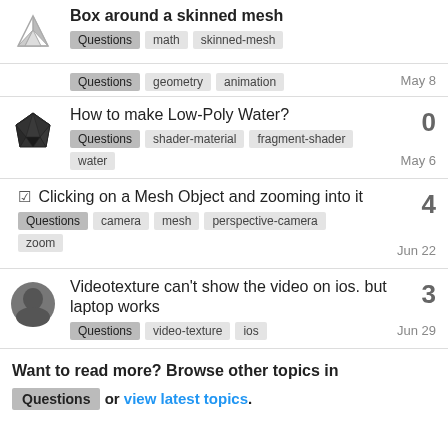Box around a skinned mesh — Questions, math, skinned-mesh
How to make Low-Poly Water? — 0 — Questions, shader-material, fragment-shader, water — May 6
Clicking on a Mesh Object and zooming into it — 4 — Questions, camera, mesh, perspective-camera, zoom — Jun 22
Videotexture can't show the video on ios. but laptop works — 3 — Questions, video-texture, ios — Jun 29
Want to read more? Browse other topics in Questions or view latest topics.